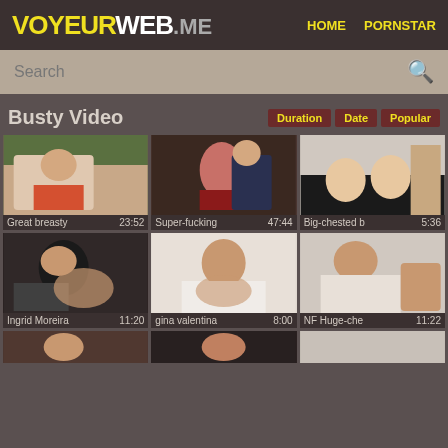VOYEURWEB.ME  HOME  PORNSTAR
Search
Busty Video
Duration  Date  Popular
[Figure (photo): Video thumbnail - woman in white shirt]
Great breasty  23:52
[Figure (photo): Video thumbnail - woman in red corset with man]
Super-fucking  47:44
[Figure (photo): Video thumbnail - two blonde women on couch]
Big-chested b  5:36
[Figure (photo): Video thumbnail - Ingrid Moreira]
Ingrid Moreira  11:20
[Figure (photo): Video thumbnail - gina valentina]
gina valentina  8:00
[Figure (photo): Video thumbnail - NF Huge-che]
NF Huge-che  11:22